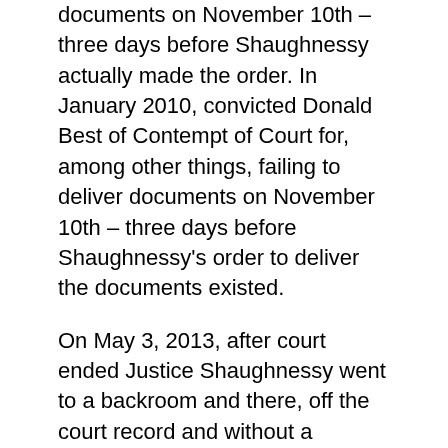documents on November 10th – three days before Shaughnessy actually made the order. In January 2010, convicted Donald Best of Contempt of Court for, among other things, failing to deliver documents on November 10th – three days before Shaughnessy's order to deliver the documents existed.
On May 3, 2013, after court ended Justice Shaughnessy went to a backroom and there, off the court record and without a hearing, trial or transcript, secretly increased Best's prison sentence by 50% without notifying Best, who was unrepresented by a lawyer. Shaughnessy secretly created a new warrant of committal with increased jail time that he gave only to the prison authorities. He did not file the new secret warrant with the courts or make mention of it anywhere in the records.